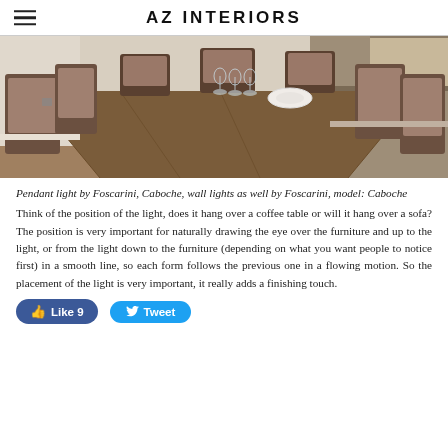AZ INTERIORS
[Figure (photo): Interior dining room photo showing a wooden dining table with brown upholstered chairs, wine glasses and a plate on the table, with shelving and a kitchen area visible in the background.]
Pendant light by Foscarini, Caboche, wall lights as well by Foscarini, model: Caboche
Think of the position of the light, does it hang over a coffee table or will it hang over a sofa?  The position is very important for naturally drawing the eye over the furniture and up to the light, or from the light down to the furniture (depending on what you want people to notice first) in a smooth line, so each form follows the previous one in a flowing motion.  So the placement of the light is very important, it really adds a finishing touch.